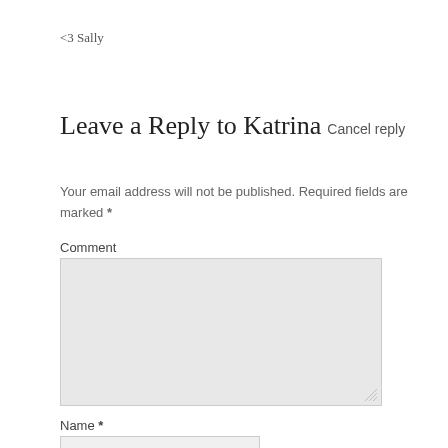<3 Sally
Leave a Reply to Katrina Cancel reply
Your email address will not be published. Required fields are marked *
Comment
Name *
Email *